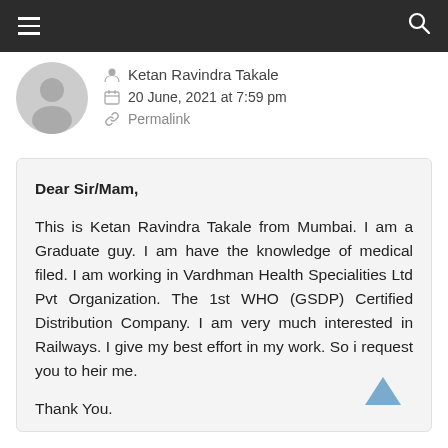≡  [hamburger menu]  [search icon]
Ketan Ravindra Takale
20 June, 2021 at 7:59 pm
Permalink
Dear Sir/Mam,

This is Ketan Ravindra Takale from Mumbai. I am a Graduate guy. I am have the knowledge of medical filed. I am working in Vardhman Health Specialities Ltd Pvt Organization. The 1st WHO (GSDP) Certified Distribution Company. I am very much interested in Railways. I give my best effort in my work. So i request you to heir me.

Thank You.